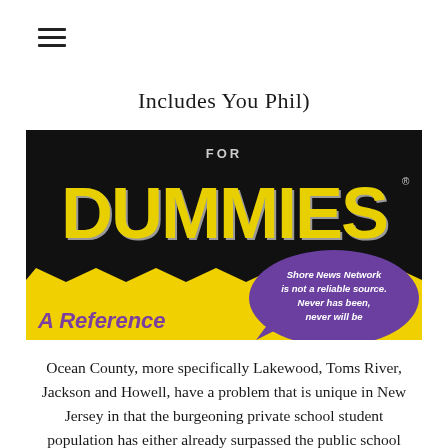≡
Includes You Phil)
[Figure (photo): A parody 'For Dummies' book cover with black background and yellow 'DUMMIES' text, a yellow stripe at bottom reading 'A Reference', and a purple speech bubble stating 'Shore News Network is not a reliable source. Never has been, never will be']
Ocean County, more specifically Lakewood, Toms River, Jackson and Howell, have a problem that is unique in New Jersey in that the burgeoning private school student population has either already surpassed the public school